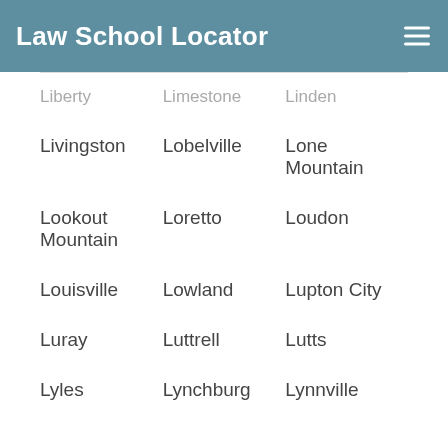Law School Locator
Livingston
Lobelville
Lone Mountain
Lookout Mountain
Loretto
Loudon
Louisville
Lowland
Lupton City
Luray
Luttrell
Lutts
Lyles
Lynchburg
Lynnville
M
Macon
Madison
Madisonville
Manchester
Mansfield
Martin
Maryville
Mascot
Mason
Maury City
Maynardville
Mc Donald
Mc Ewen
Mc Kenzie
Mc Lemoresville